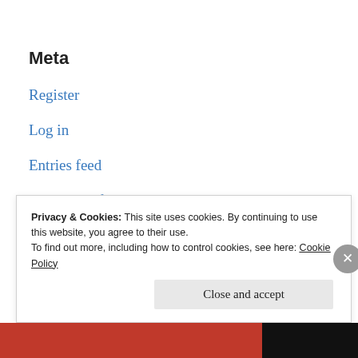Meta
Register
Log in
Entries feed
Comments feed
WordPress.com
Privacy & Cookies: This site uses cookies. By continuing to use this website, you agree to their use.
To find out more, including how to control cookies, see here: Cookie Policy
Close and accept